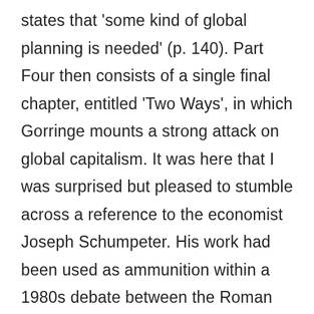states that 'some kind of global planning is needed' (p. 140). Part Four then consists of a single final chapter, entitled 'Two Ways', in which Gorringe mounts a strong attack on global capitalism. It was here that I was surprised but pleased to stumble across a reference to the economist Joseph Schumpeter. His work had been used as ammunition within a 1980s debate between the Roman Catholic bishops of the USA and some prominent Catholic lay people. Reading this section carefully, my impression was that